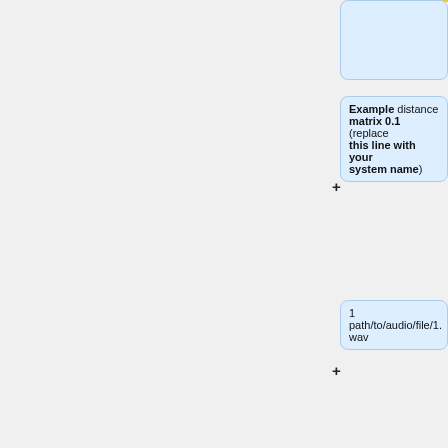scatter or separation).
Example distance matrix 0.1 (replace this line with your system name)
1
path/to/audio/file/1.wav
2
path/to/audio/file/2.wav
3
path/to/audio/file/3.wav
...
N
path/to/audio/file/N.wav
Q/R  1  2